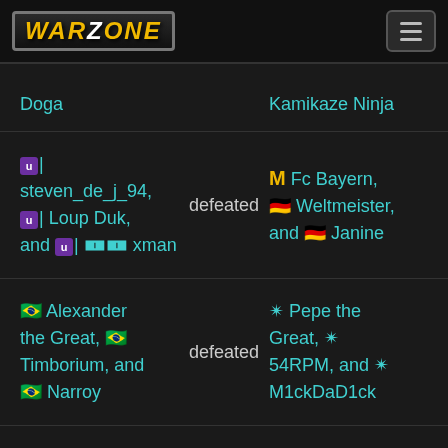Warzone
Doga defeated Kamikaze Ninja
u| steven_de_j_94, u| Loup Duk, and u| xman defeated M Fc Bayern, Weltmeister, and Janine
Alexander the Great, Timborium, and Narroy defeated Pepe the Great, 54RPM, and M1ckDaD1ck